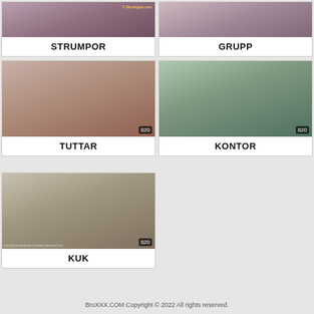[Figure (photo): Thumbnail image for STRUMPOR category with watermark shyangels.com]
STRUMPOR
[Figure (photo): Thumbnail image for GRUPP category]
GRUPP
[Figure (photo): Thumbnail image for TUTTAR category, duration 820]
TUTTAR
[Figure (photo): Thumbnail image for KONTOR category, duration 820]
KONTOR
[Figure (photo): Thumbnail image for KUK category, duration 820, watermark roundofpremium.com]
KUK
BroXXX.COM Copyright © 2022 All rights reserved.